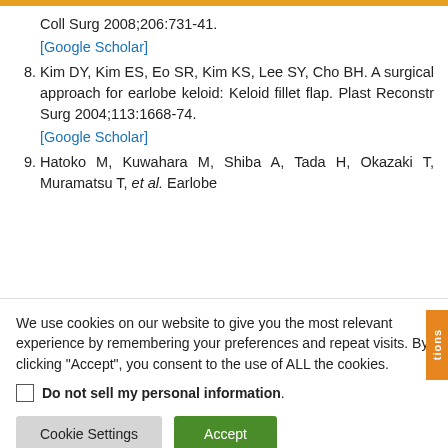Coll Surg 2008;206:731-41.
[Google Scholar]
8. Kim DY, Kim ES, Eo SR, Kim KS, Lee SY, Cho BH. A surgical approach for earlobe keloid: Keloid fillet flap. Plast Reconstr Surg 2004;113:1668-74.
[Google Scholar]
9. Hatoko M, Kuwahara M, Shiba A, Tada H, Okazaki T, Muramatsu T, et al. Earlobe
We use cookies on our website to give you the most relevant experience by remembering your preferences and repeat visits. By clicking "Accept", you consent to the use of ALL the cookies.
Do not sell my personal information.